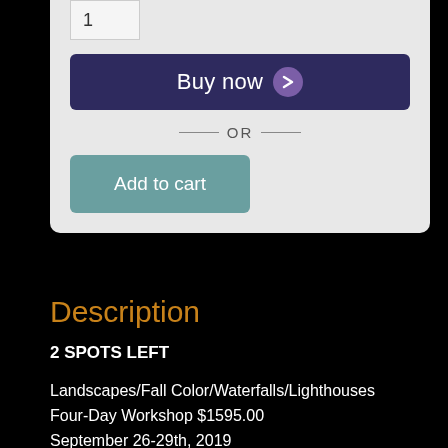[Figure (screenshot): E-commerce product page UI showing a quantity input box with value 1, a dark navy 'Buy now' button with purple chevron icon, an OR divider, and a teal 'Add to cart' button on a light grey panel background.]
Description
2 SPOTS LEFT
Landscapes/Fall Color/Waterfalls/Lighthouses
Four-Day Workshop $1595.00
September 26-29th, 2019
Meet and greet on Sept 25th at 7pm
8 students maximum